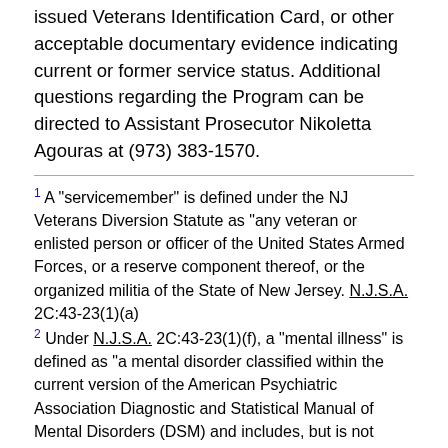issued Veterans Identification Card, or other acceptable documentary evidence indicating current or former service status. Additional questions regarding the Program can be directed to Assistant Prosecutor Nikoletta Agouras at (973) 383-1570.
1 A "servicemember" is defined under the NJ Veterans Diversion Statute as "any veteran or enlisted person or officer of the United States Armed Forces, or a reserve component thereof, or the organized militia of the State of New Jersey. N.J.S.A. 2C:43-23(1)(a)
2 Under N.J.S.A. 2C:43-23(1)(f), a "mental illness" is defined as "a mental disorder classified within the current version of the American Psychiatric Association Diagnostic and Statistical Manual of Mental Disorders (DSM) and includes, but is not limited to, anxiety disorders, cognitive disorders, post-traumatic stress disorder (PTSD), bipolar disorder, depression, adjustment disorders, schizophrenia and other psychotic disorders."